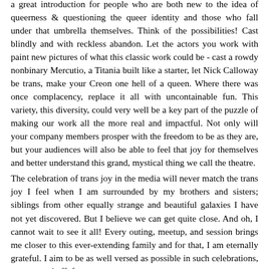a great introduction for people who are both new to the idea of queerness & questioning the queer identity and those who fall under that umbrella themselves. Think of the possibilities! Cast blindly and with reckless abandon. Let the actors you work with paint new pictures of what this classic work could be - cast a rowdy nonbinary Mercutio, a Titania built like a starter, let Nick Calloway be trans, make your Creon one hell of a queen. Where there was once complacency, replace it all with uncontainable fun. This variety, this diversity, could very well be a key part of the puzzle of making our work all the more real and impactful. Not only will your company members prosper with the freedom to be as they are, but your audiences will also be able to feel that joy for themselves and better understand this grand, mystical thing we call the theatre.
The celebration of trans joy in the media will never match the trans joy I feel when I am surrounded by my brothers and sisters; siblings from other equally strange and beautiful galaxies I have not yet discovered. But I believe we can get quite close. And oh, I cannot wait to see it all! Every outing, meetup, and session brings me closer to this ever-extending family and for that, I am eternally grateful. I aim to be as well versed as possible in such celebrations, onstage and off, for